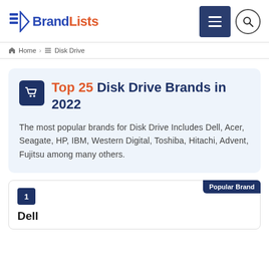BrandLists
Home › Disk Drive
Top 25 Disk Drive Brands in 2022
The most popular brands for Disk Drive Includes Dell, Acer, Seagate, HP, IBM, Western Digital, Toshiba, Hitachi, Advent, Fujitsu among many others.
1 Dell — Popular Brand